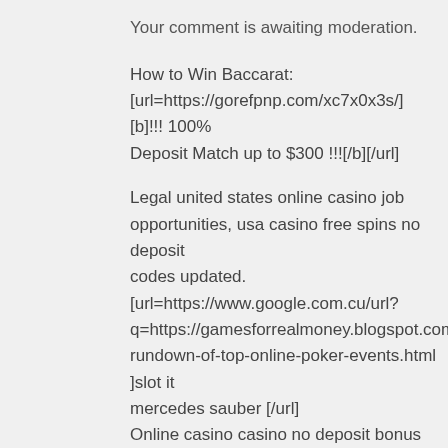Your comment is awaiting moderation.
How to Win Baccarat:
[url=https://gorefpnp.com/xc7x0x3s/] [b]!!! 100% Deposit Match up to $300 !!![/b][/url]
Legal united states online casino job opportunities, usa casino free spins no deposit codes updated.
[url=https://www.google.com.cu/url?q=https://gamesforrealmoney.blogspot.com/2020/12/a-rundown-of-top-online-poker-events.html ]slot it mercedes sauber [/url]
Online casino casino no deposit bonus info, new no deposit casinos accepting us players higher.
https://gamesforrealmoney.blogspot.com/2020/11/slot...